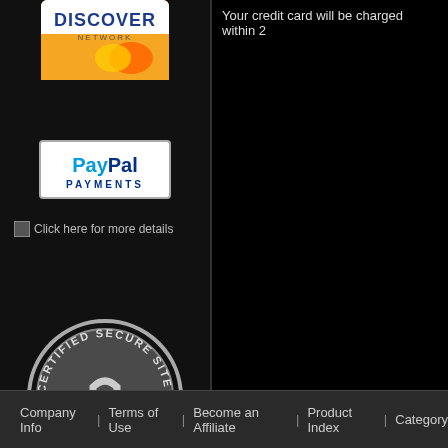[Figure (logo): Discover Network credit card logo]
[Figure (logo): PayPal Payments logo in white bordered box]
Click here for more details
[Figure (logo): SSL Certified Secure Site - Volusion badge (circular grey badge with padlock)]
Your credit card will be charged within 2
Company Info | Terms of Use | Become an Affiliate | Product Index | Category